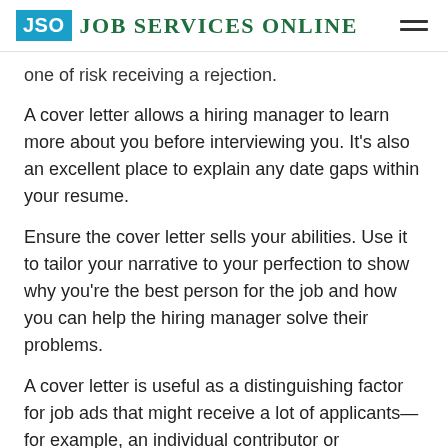JSO Job Services Online
one of risk receiving a rejection.
A cover letter allows a hiring manager to learn more about you before interviewing you. It's also an excellent place to explain any date gaps within your resume.
Ensure the cover letter sells your abilities. Use it to tailor your narrative to your perfection to show why you're the best person for the job and how you can help the hiring manager solve their problems.
A cover letter is useful as a distinguishing factor for job ads that might receive a lot of applicants—for example, an individual contributor or engineering role at a famous tech company.